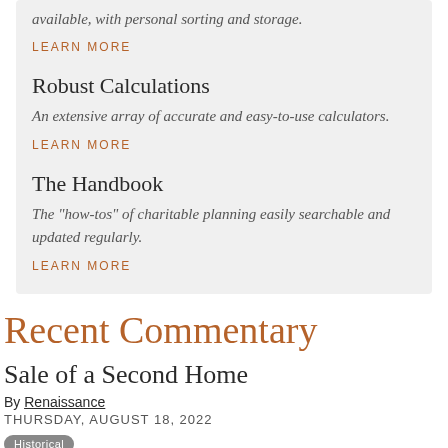available, with personal sorting and storage.
LEARN MORE
Robust Calculations
An extensive array of accurate and easy-to-use calculators.
LEARN MORE
The Handbook
The "how-tos" of charitable planning easily searchable and updated regularly.
LEARN MORE
Recent Commentary
Sale of a Second Home
By Renaissance
THURSDAY, AUGUST 18, 2022